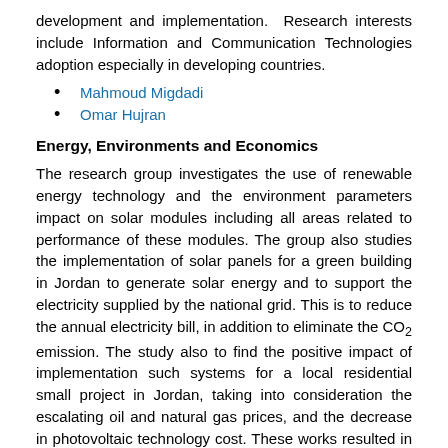development and implementation. Research interests include Information and Communication Technologies adoption especially in developing countries.
Mahmoud Migdadi
Omar Hujran
Energy, Environments and Economics
The research group investigates the use of renewable energy technology and the environment parameters impact on solar modules including all areas related to performance of these modules. The group also studies the implementation of solar panels for a green building in Jordan to generate solar energy and to support the electricity supplied by the national grid. This is to reduce the annual electricity bill, in addition to eliminate the CO2 emission. The study also to find the positive impact of implementation such systems for a local residential small project in Jordan, taking into consideration the escalating oil and natural gas prices, and the decrease in photovoltaic technology cost. These works resulted in one book, five international conference papers, three international journal published papers, and three international journals in review process.
Abdul Ghafoor Al Sari...